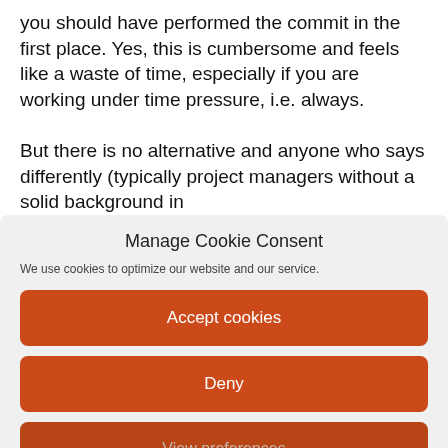you should have performed the commit in the first place. Yes, this is cumbersome and feels like a waste of time, especially if you are working under time pressure, i.e. always.

But there is no alternative and anyone who says differently (typically project managers without a solid background in
Manage Cookie Consent
We use cookies to optimize our website and our service.
Accept cookies
Deny
View preferences